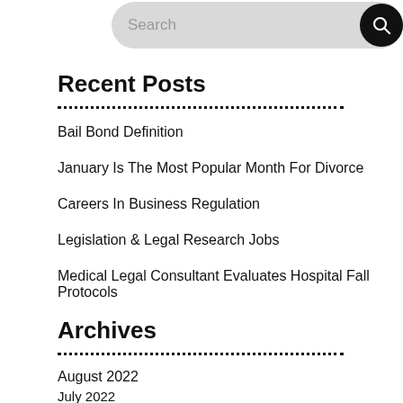[Figure (other): Search bar with magnifying glass icon on dark button]
Recent Posts
Bail Bond Definition
January Is The Most Popular Month For Divorce
Careers In Business Regulation
Legislation & Legal Research Jobs
Medical Legal Consultant Evaluates Hospital Fall Protocols
Archives
August 2022
July 2022
June 2022